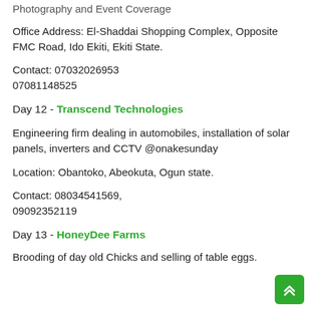Photography and Event Coverage
Office Address: El-Shaddai Shopping Complex, Opposite FMC Road, Ido Ekiti, Ekiti State.
Contact: 07032026953
07081148525
Day 12 - Transcend Technologies
Engineering firm dealing in automobiles, installation of solar panels, inverters and CCTV @onakesunday
Location: Obantoko, Abeokuta, Ogun state.
Contact: 08034541569,
09092352119
Day 13 - HoneyDee Farms
Brooding of day old Chicks and selling of table eggs.